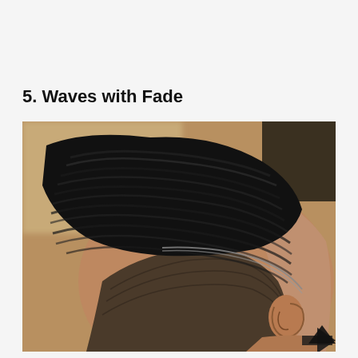5. Waves with Fade
[Figure (photo): Close-up photo of a person's head showing a waves hairstyle with a fade. The top of the head features deep, defined wave patterns in dark hair, transitioning to a clean fade on the sides and back. The person's ear and side of face are visible. Background is blurred with warm tones.]